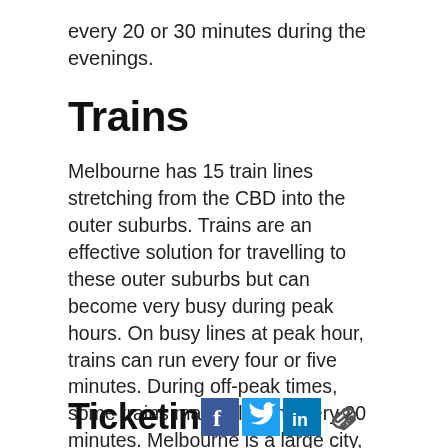every 20 or 30 minutes during the evenings.
Trains
Melbourne has 15 train lines stretching from the CBD into the outer suburbs. Trains are an effective solution for travelling to these outer suburbs but can become very busy during peak hours. On busy lines at peak hour, trains can run every four or five minutes. During off-peak times, some trains may only run every 20 minutes. Melbourne is a large city, so for ticketing purposes it has been divided into two ‘zones’. Zone 1 includes the CBD and the inner suburbs, while Zone 2 encompasses the outer suburbs.
Ticketin [facebook] [twitter] [linkedin] [link]